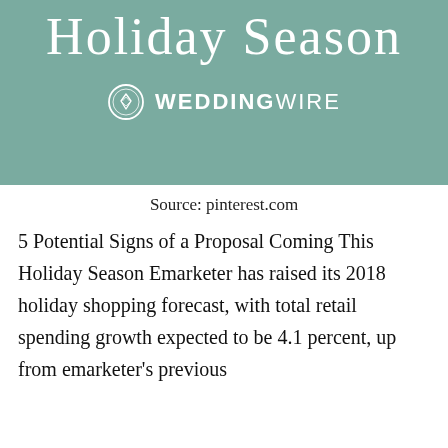[Figure (logo): WeddingWire branded header image with cursive text 'Holiday Season' in white on teal/sage green background, with WeddingWire logo (ring icon and text) below]
Source: pinterest.com
5 Potential Signs of a Proposal Coming This Holiday Season Emarketer has raised its 2018 holiday shopping forecast, with total retail spending growth expected to be 4.1 percent, up from emarketer's previous